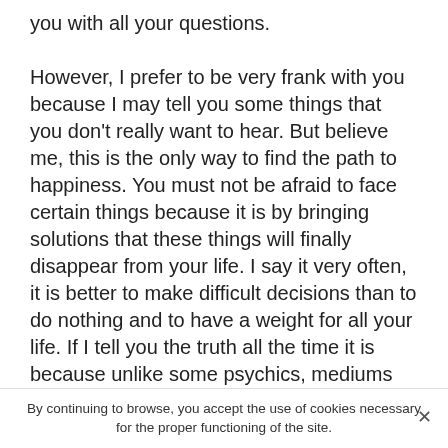you with all your questions.

However, I prefer to be very frank with you because I may tell you some things that you don't really want to hear. But believe me, this is the only way to find the path to happiness. You must not be afraid to face certain things because it is by bringing solutions that these things will finally disappear from your life. I say it very often, it is better to make difficult decisions than to do nothing and to have a weight for all your life. If I tell you the truth all the time it is because unlike some psychics, mediums and others, I am not here to please you but to help you because I am a numerologist in Florissant. Now you are completely free to follow or not my advice and my predictions because I am not here to make decisions for you but just to guide you. Do not hesitate to ask me if you need a numerology consultation by phone in Florissant. I
By continuing to browse, you accept the use of cookies necessary for the proper functioning of the site.